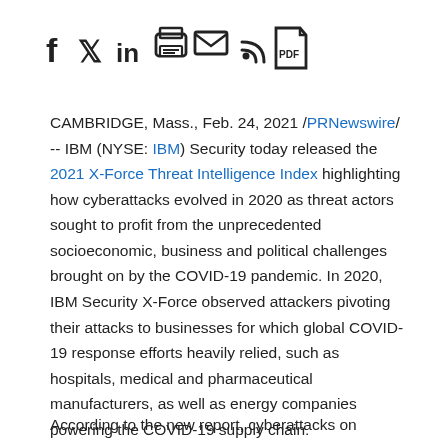[Figure (other): Social sharing icons: Facebook, Twitter, LinkedIn, Print, Email, RSS, PDF]
CAMBRIDGE, Mass., Feb. 24, 2021 /PRNewswire/ -- IBM (NYSE: IBM) Security today released the 2021 X-Force Threat Intelligence Index highlighting how cyberattacks evolved in 2020 as threat actors sought to profit from the unprecedented socioeconomic, business and political challenges brought on by the COVID-19 pandemic. In 2020, IBM Security X-Force observed attackers pivoting their attacks to businesses for which global COVID-19 response efforts heavily relied, such as hospitals, medical and pharmaceutical manufacturers, as well as energy companies powering the COVID-19 supply chain.
According to the new report, cyberattacks on